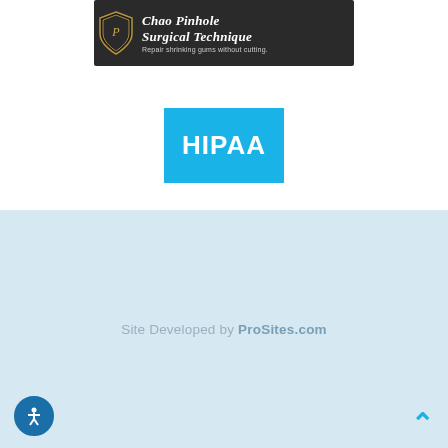[Figure (logo): Chao Pinhole Surgical Technique banner with shield logo on dark background, subtitle: Repair shrinking gums without cutting.]
[Figure (logo): HIPAA blue badge/button]
Site Developed by ProSites.com